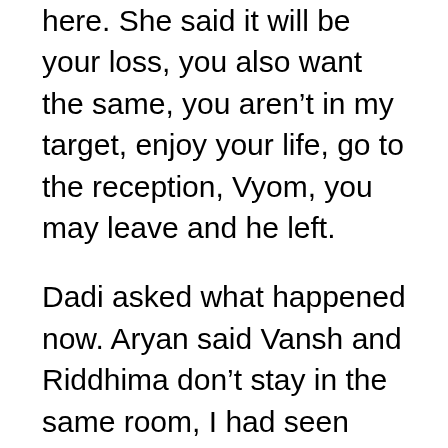here. She said it will be your loss, you also want the same, you aren't in my target, enjoy your life, go to the reception, Vyom, you may leave and he left.
Dadi asked what happened now. Aryan said Vansh and Riddhima don't stay in the same room, I had seen Vansh going to the backyard last night. She asked why. He asked why are you worried, I don't know about that and Vansh came. Dadi signalled Aryan to go. She asked Vansh about his fight with Riddhima, what happened. Vansh said leave it to me, I will handle it. She said she is giving you some tension, if she didn't carry the heir of our family, then I would have asked you to leave her,